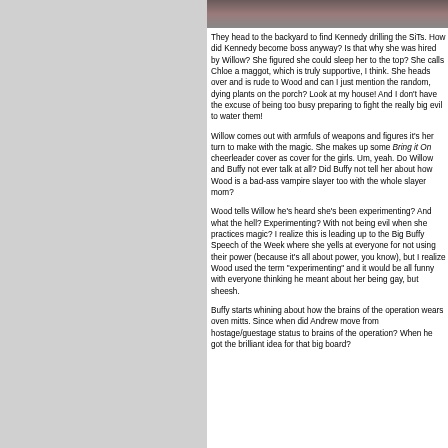[Figure (photo): Partial photograph visible at top right of page, appears to show a person]
They head to the backyard to find Kennedy drilling the SiTs. How did Kennedy become boss anyway? Is that why she was hired by Willow? She figured she could sleep her to the top? She calls Chloe a maggot, which is truly supportive, I think. She heads over and is rude to Wood and can I just mention the random, dying plants on the porch? Look at my house! And I don't have the excuse of being too busy preparing to fight the really big evil to water them!

Willow comes out with armfuls of weapons and figures it's her turn to make with the magic. She makes up some Bring it On cheerleader cover as cover for the girls. Um, yeah. Do Willow and Buffy not ever talk at all? Did Buffy not tell her about how Wood is a bad-ass vampire slayer too with the whole slayer mom?

Wood tells Willow he's heard she's been experimenting? And what the hell? Experimenting? With not being evil when she practices magic? I realize this is leading up to the Big Buffy Speech of the Week where she yells at everyone for not using their power (because it's all about power, you know), but I realize Wood used the term "experimenting" and it would be all funny with everyone thinking he meant about her being gay, but sheesh.

Buffy starts whining about how the brains of the operation wears oven mitts. Since when did Andrew move from hostage/guestage status to brains of the operation? When he got the brilliant idea for that big board?